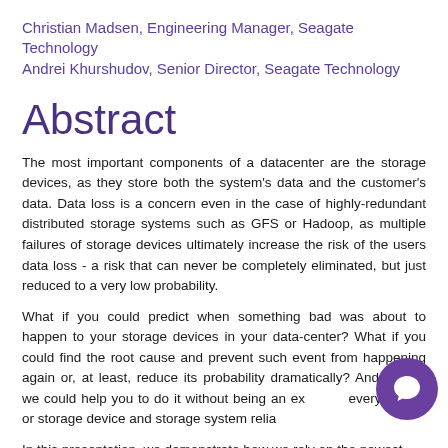Christian Madsen, Engineering Manager, Seagate Technology
Andrei Khurshudov, Senior Director, Seagate Technology
Abstract
The most important components of a datacenter are the storage devices, as they store both the system's data and the customer's data. Data loss is a concern even in the case of highly-redundant distributed storage systems such as GFS or Hadoop, as multiple failures of storage devices ultimately increase the risk of the users data loss - a risk that can never be completely eliminated, but just reduced to a very low probability.
What if you could predict when something bad was about to happen to your storage devices in your data-center? What if you could find the root cause and prevent such event from happening again or, at least, reduce its probability dramatically? And what if we could help you to do it without being an expert in every aspect or storage device and storage system reliability?
In this presentation, we demonstrate how we rely on the newest